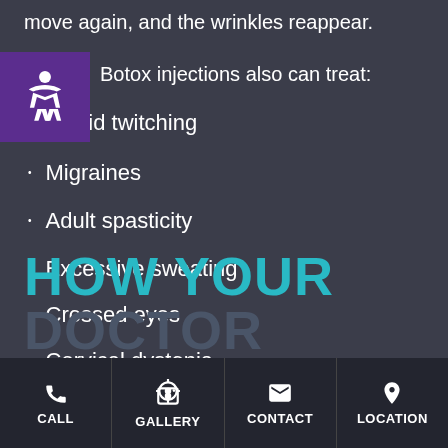move again, and the wrinkles reappear.
Botox injections also can treat:
Eyelid twitching
Migraines
Adult spasticity
Excessive sweating
Crossed eyes
Cervical dystonia
Overactive bladder
HOW YOUR
CALL | GALLERY | CONTACT | LOCATION